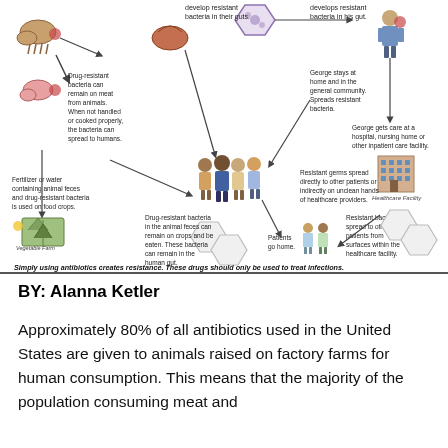[Figure (infographic): Infographic showing how antibiotic resistance spreads from farm animals through food, environment, and healthcare settings to humans. Depicts cycle: animals develop resistant bacteria in guts, drug-resistant bacteria remain on meat, fertilizer/water with animal feces used on food crops, bacteria remain in human gut, spreading through community and healthcare facilities. Bottom caption: 'Simply using antibiotics creates resistance. These drugs should only be used to treat infections.']
BY: Alanna Ketler
Approximately 80% of all antibiotics used in the United States are given to animals raised on factory farms for human consumption. This means that the majority of the population consuming meat and